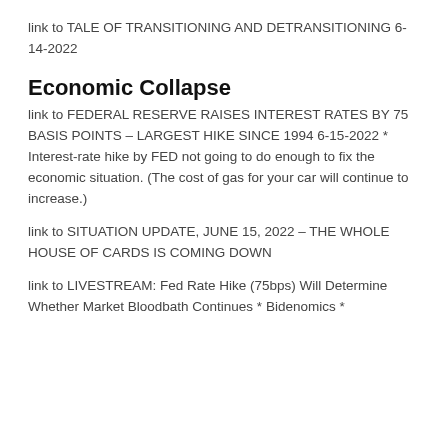link to TALE OF TRANSITIONING AND DETRANSITIONING 6-14-2022
Economic Collapse
link to FEDERAL RESERVE RAISES INTEREST RATES BY 75 BASIS POINTS – LARGEST HIKE SINCE 1994 6-15-2022 * Interest-rate hike by FED not going to do enough to fix the economic situation. (The cost of gas for your car will continue to increase.)
link to SITUATION UPDATE, JUNE 15, 2022 – THE WHOLE HOUSE OF CARDS IS COMING DOWN
link to LIVESTREAM: Fed Rate Hike (75bps) Will Determine Whether Market Bloodbath Continues * Bidenomics *